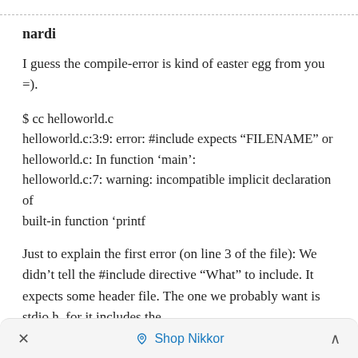nardi
I guess the compile-error is kind of easter egg from you =).
$ cc helloworld.c
helloworld.c:3:9: error: #include expects “FILENAME” or
helloworld.c: In function ‘main’:
helloworld.c:7: warning: incompatible implicit declaration of built-in function ‘printf
Just to explain the first error (on line 3 of the file): We didn’t tell the #include directive “What” to include. It expects some header file. The one we probably want is stdio.h, for it includes the
×   📷 Shop Nikkor   ˄